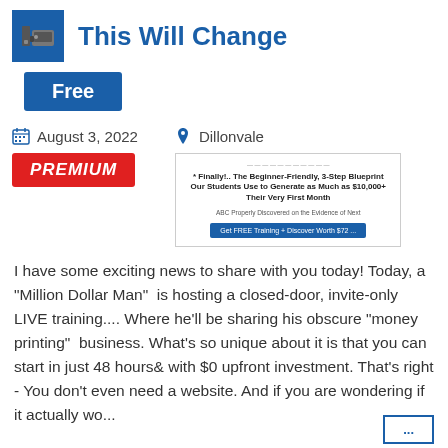This Will Change
Free
August 3, 2022    Dillonvale
PREMIUM
[Figure (screenshot): Advertisement banner: * Finally!.. The Beginner-Friendly, 3-Step Blueprint Our Students Use to Generate as Much as $10,000+ Their Very First Month. Button: Get FREE Training + Discover Worth $72...]
I have some exciting news to share with you today! Today, a "Million Dollar Man"  is hosting a closed-door, invite-only LIVE training.... Where he'll be sharing his obscure "money printing"  business. What's so unique about it is that you can start in just 48 hours& with $0 upfront investment. That's right - You don't even need a website. And if you are wondering if it actually wo...